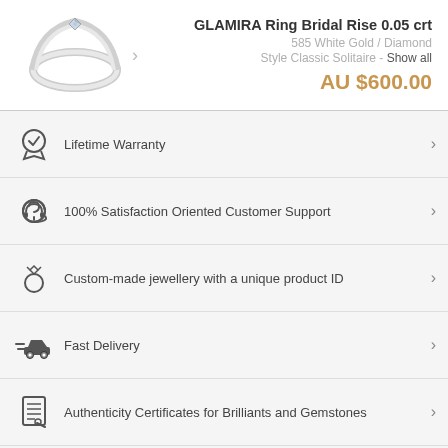[Figure (photo): Product photo of GLAMIRA ring bridal rise, a thin silver solitaire ring with a small diamond, shown against white background]
GLAMIRA Ring Bridal Rise 0.05 crt
585 White Gold / Diamond
Style Classic Solitaire - Show all
AU $600.00
Lifetime Warranty
100% Satisfaction Oriented Customer Support
Custom-made jewellery with a unique product ID
Fast Delivery
Authenticity Certificates for Brilliants and Gemstones
Allergy-Free Material
Years of Experience
Founded in Heilbronn - Germany, delivering top quality since 2008